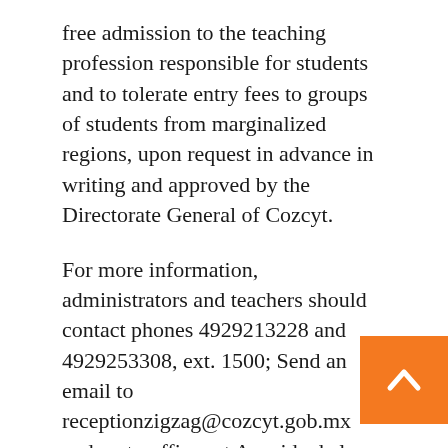free admission to the teaching profession responsible for students and to tolerate entry fees to groups of students from marginalized regions, upon request in advance in writing and approved by the Directorate General of Cozcyt.
For more information, administrators and teachers should contact phones 4929213228 and 4929253308, ext. 1500; Send an email to receptionzigzag@cozcyt.gob.mx and go to offices at Avenida de la Juventud 502, Colonia Barros Sierra, CP 98090, Zacatecas, Zac. Entrance fee for children is 30 pesos. 25, from students with credentials; 40, for adults; And free for teachers.
Governor David Monreal offers preschool and elementary school students the additional alternative of attending virtual slalom tours, which
[Figure (other): Orange square button with white upward-pointing chevron/arrow icon, positioned at bottom right]